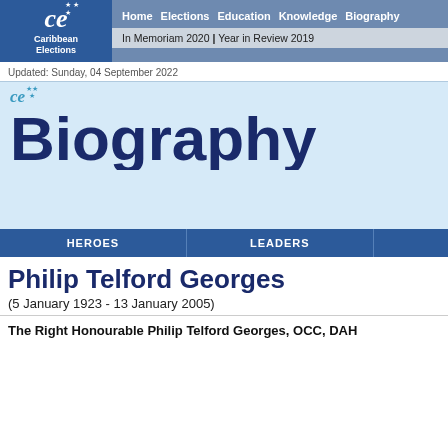[Figure (logo): Caribbean Elections logo with 'ce' stylized text and stars, on blue background]
Home  Elections  Education  Knowledge  Biography
In Memoriam 2020 | Year in Review 2019
Updated: Sunday, 04 September 2022
[Figure (logo): Caribbean Elections 'ce' logo in teal with stars, on light blue background with large 'Biography' text in dark navy]
HEROES  LEADERS
Philip Telford Georges
(5 January 1923 - 13 January 2005)
The Right Honourable Philip Telford Georges, OCC, DAH